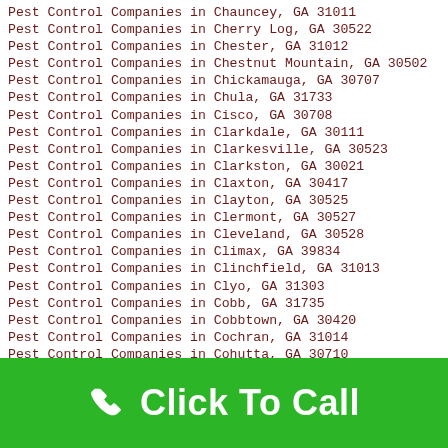Pest Control Companies in Chauncey, GA 31011
Pest Control Companies in Cherry Log, GA 30522
Pest Control Companies in Chester, GA 31012
Pest Control Companies in Chestnut Mountain, GA 30502
Pest Control Companies in Chickamauga, GA 30707
Pest Control Companies in Chula, GA 31733
Pest Control Companies in Cisco, GA 30708
Pest Control Companies in Clarkdale, GA 30111
Pest Control Companies in Clarkesville, GA 30523
Pest Control Companies in Clarkston, GA 30021
Pest Control Companies in Claxton, GA 30417
Pest Control Companies in Clayton, GA 30525
Pest Control Companies in Clermont, GA 30527
Pest Control Companies in Cleveland, GA 30528
Pest Control Companies in Climax, GA 39834
Pest Control Companies in Clinchfield, GA 31013
Pest Control Companies in Clyo, GA 31303
Pest Control Companies in Cobb, GA 31735
Pest Control Companies in Cobbtown, GA 30420
Pest Control Companies in Cochran, GA 31014
Pest Control Companies in Cohutta, GA 30710
Pest Control Companies in Colbert, GA 30628
Pest Control Companies in Coleman, GA 39836
Pest Control Companies in Collins, GA 30421
Pest Control Companies in Colquitt, GA 39837
Pest Control Companies in Columbus, GA 31901
Pest Control Companies in Columbus, GA 31902
Pest Control Companies in Columbus, GA 31903
Click To Call